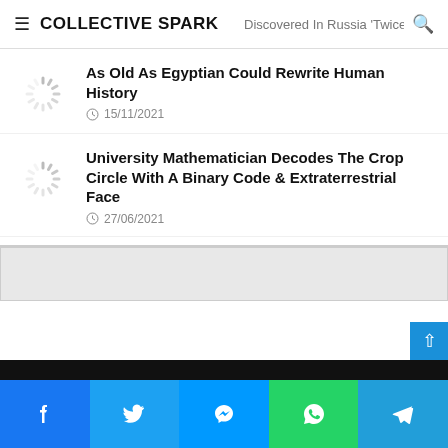COLLECTIVE SPARK — Discovered In Russia 'Twice As Old As Egyptian Could Rewrite Human History'
[Figure (screenshot): Loading spinner thumbnail for article]
As Old As Egyptian Could Rewrite Human History
15/11/2021
[Figure (screenshot): Loading spinner thumbnail for article]
University Mathematician Decodes The Crop Circle With A Binary Code & Extraterrestrial Face
27/06/2021
[Figure (other): Advertisement banner]
Facebook | Twitter | Messenger | WhatsApp | Telegram